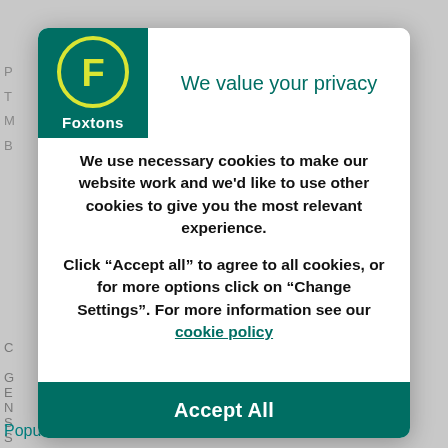[Figure (logo): Foxtons logo: green square background with yellow circle containing yellow F letter and white Foxtons text below]
We value your privacy
We use necessary cookies to make our website work and we'd like to use other cookies to give you the most relevant experience.
Click “Accept all” to agree to all cookies, or for more options click on “Change Settings”. For more information see our cookie policy
Accept All